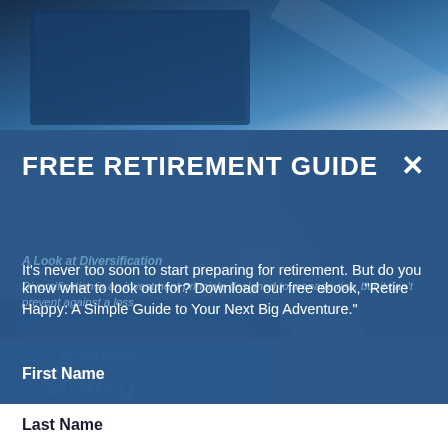[Figure (photo): Blue gradient background with financial/investment book image and article content visible behind a modal popup overlay]
FREE RETIREMENT GUIDE
It's never too soon to start preparing for retirement. But do you know what to look out for? Download our free ebook, "Retire Happy: A Simple Guide to Your Next Big Adventure."
First Name
Last Name